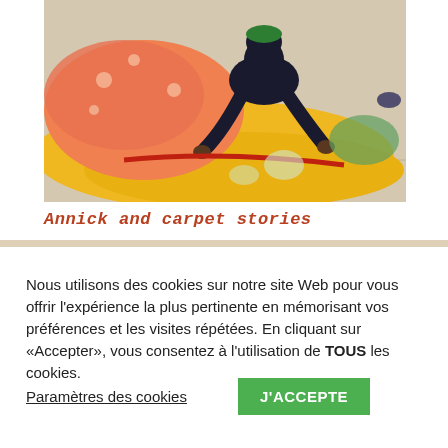[Figure (photo): A person kneeling on the floor working with colorful fabric including orange/salmon patterned cloth and bright yellow fabric spread on tiles.]
Annick and carpet stories
Nous utilisons des cookies sur notre site Web pour vous offrir l'expérience la plus pertinente en mémorisant vos préférences et les visites répétées. En cliquant sur «Accepter», vous consentez à l'utilisation de TOUS les cookies.
Paramètres des cookies
J'ACCEPTE